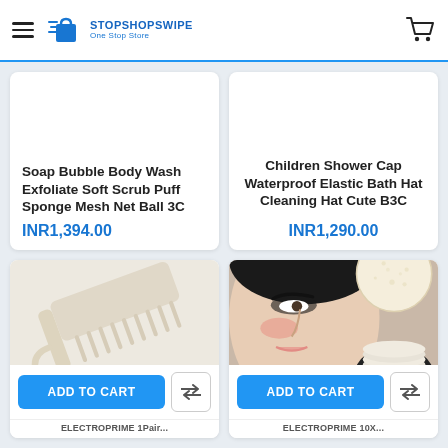STOPSHOPSWIPE – One Stop Store
Soap Bubble Body Wash Exfoliate Soft Scrub Puff Sponge Mesh Net Ball 3C
INR1,394.00
Children Shower Cap Waterproof Elastic Bath Hat Cleaning Hat Cute B3C
INR1,290.00
[Figure (photo): A cream/beige plastic comb with a hook-like handle on a light background]
ADD TO CART
ELECTROPRIME 1Pair...
[Figure (photo): A woman's face with bold eye makeup alongside a round natural sponge and a stack of circular cotton pads on a black plate]
ADD TO CART
ELECTROPRIME 10X...